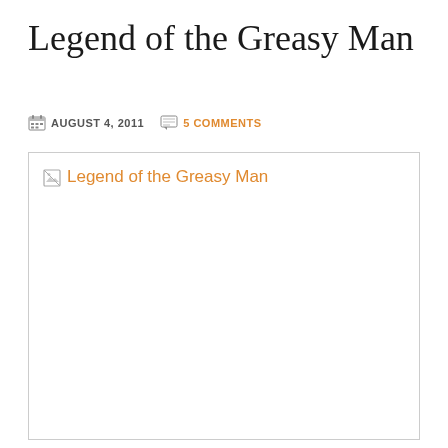Legend of the Greasy Man
AUGUST 4, 2011   5 COMMENTS
[Figure (photo): Broken image placeholder for 'Legend of the Greasy Man' — a large white rectangle with a broken image icon and alt text in orange reading 'Legend of the Greasy Man']